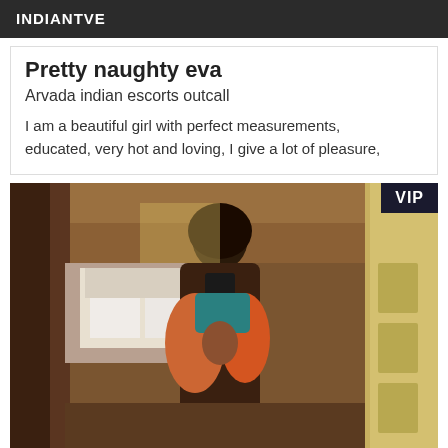INDIANTVE
Pretty naughty eva
Arvada indian escorts outcall
I am a beautiful girl with perfect measurements, educated, very hot and loving, I give a lot of pleasure,
[Figure (photo): Mirror selfie photo of a woman in a hotel room, with VIP badge in top right corner]